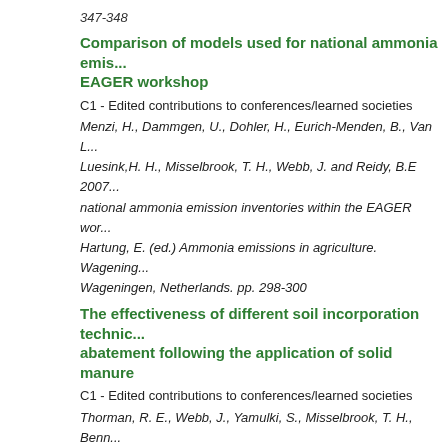347-348
Comparison of models used for national ammonia emis... EAGER workshop
C1 - Edited contributions to conferences/learned societies
Menzi, H., Dammgen, U., Dohler, H., Eurich-Menden, B., Van L... Luesink,H. H., Misselbrook, T. H., Webb, J. and Reidy, B.E 2007... national ammonia emission inventories within the EAGER wor... Hartung, E. (ed.) Ammonia emissions in agriculture. Wagening... Wageningen, Netherlands. pp. 298-300
The effectiveness of different soil incorporation technic... abatement following the application of solid manure
C1 - Edited contributions to conferences/learned societies
Thorman, R. E., Webb, J., Yamulki, S., Misselbrook, T. H., Benn... Matthews, R. A. 2007. The effectiveness of different soil incor... of ammonia abatement following the application of solid man... E. (ed.) Ammonia emissions in agriculture. Wageningen Acade... Netherlands. pp. 201-202
An algorithm for estimation of the influence of crop...